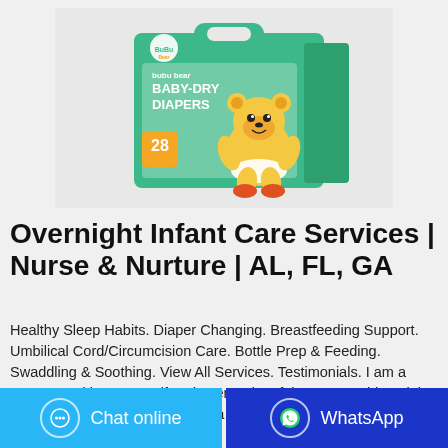[Figure (photo): Bubu Bear Baby-Dry Diapers product package — green box with cartoon bear mascot, '28' count label, shown with carry handle on a light gray background]
Overnight Infant Care Services | Nurse & Nurture | AL, FL, GA
Healthy Sleep Habits. Diaper Changing. Breastfeeding Support. Umbilical Cord/Circumcision Care. Bottle Prep & Feeding. Swaddling & Soothing. View All Services. Testimonials. I am a nurse practitioner myself and spent a lot of time researching night nurse services and interviewing a few of the local options. Ultimately, I
Chat online
WhatsApp